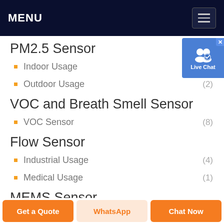MENU
PM2.5 Sensor
Indoor Usage (7)
Outdoor Usage (2)
VOC and Breath Smell Sensor
VOC Sensor (8)
Flow Sensor
Industrial Usage (4)
Medical Usage (1)
MEMS Sensor
[Figure (screenshot): Live Chat button overlay in top right corner]
Get a Quote | WhatsApp | Chat Now